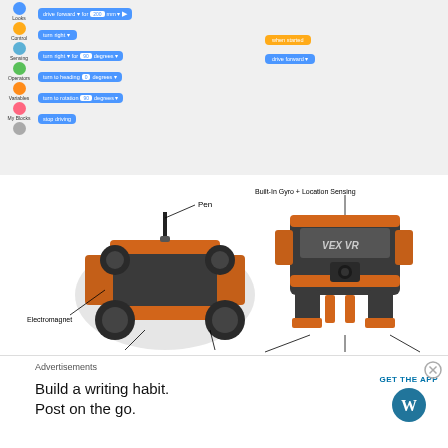[Figure (screenshot): VEX VR block-based programming interface showing coding blocks (drive forward, turn right, turn to heading, turn to rotation, stop driving) on left sidebar with colored category dots, and a yellow 'when started' block with blue 'drive forward' block on the right canvas area.]
[Figure (illustration): Two VEX VR robot diagrams side by side. Left robot shown in 3D perspective with labels: Pen (top), Electromagnet (bottom left), Down Eye (bottom center-left), 50mm Diameter Wheels (bottom center-right). Right robot shown from front with labels: Built-In Gyro + Location Sensing (top), Front Eye + Distance Sensor (bottom).]
Advertisements
Build a writing habit.
Post on the go.
GET THE APP